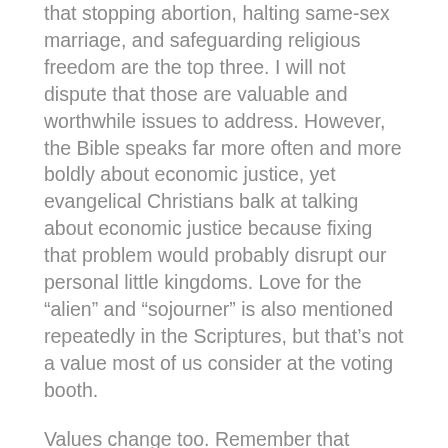that stopping abortion, halting same-sex marriage, and safeguarding religious freedom are the top three. I will not dispute that those are valuable and worthwhile issues to address. However, the Bible speaks far more often and more boldly about economic justice, yet evangelical Christians balk at talking about economic justice because fixing that problem would probably disrupt our personal little kingdoms. Love for the “alien” and “sojourner” is also mentioned repeatedly in the Scriptures, but that’s not a value most of us consider at the voting booth.
Values change too. Remember that ridding our country of “demon alcohol” was once the most important value the American Church held dear.
Here’s the essence of this post.